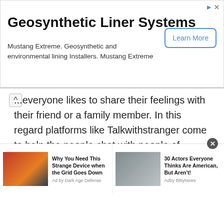Geosynthetic Liner Systems
Mustang Extreme. Geosynthetic and environmental lining Installers. Mustang Extreme
everyone likes to share their feelings with their friend or a family member. In this regard platforms like Talkwithstranger come to help the people chat with people of Oman.
Chat with people of Oman the way you want !
There also are several other reasons why you need to talk to a stranger. If you are talking with a person from another nation, then you can learn more about
Why You Need This Strange Device when the Grid Goes Down
30 Actors Everyone Thinks Are American, But Aren't!